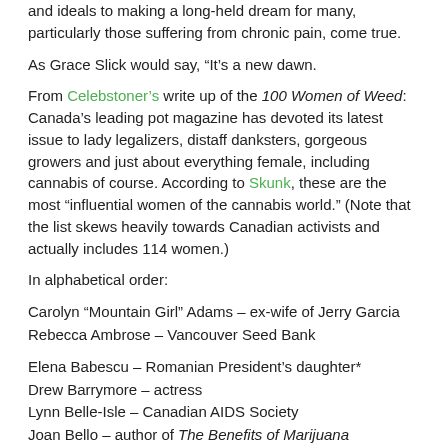and ideals to making a long-held dream for many, particularly those suffering from chronic pain, come true.
As Grace Slick would say, "It's a new dawn.
From Celebstoner's write up of the 100 Women of Weed: Canada's leading pot magazine has devoted its latest issue to lady legalizers, distaff danksters, gorgeous growers and just about everything female, including cannabis of course. According to Skunk, these are the most "influential women of the cannabis world." (Note that the list skews heavily towards Canadian activists and actually includes 114 women.)
In alphabetical order:
Carolyn “Mountain Girl” Adams – ex-wife of Jerry Garcia
Rebecca Ambrose – Vancouver Seed Bank
Elena Babescu – Romanian President’s daughter*
Drew Barrymore – actress
Lynn Belle-Isle – Canadian AIDS Society
Joan Bello – author of The Benefits of Marijuana
Sarah Bergeron – activist
Hilary Blackey, BC Compassion Club Society